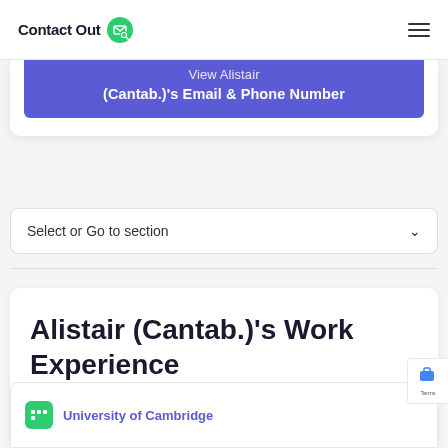ContactOut
View Alistair (Cantab.)'s Email & Phone Number
Select or Go to section
Alistair (Cantab.)'s Work Experience
University of Cambridge